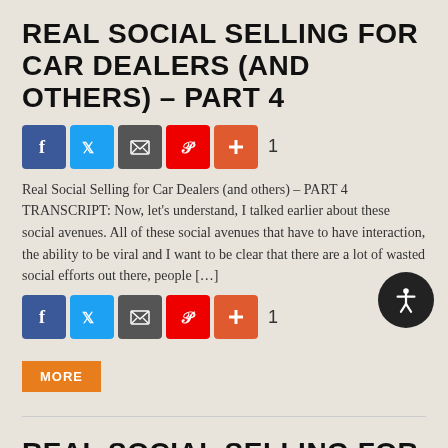REAL SOCIAL SELLING FOR CAR DEALERS (AND OTHERS) – PART 4
[Figure (infographic): Social sharing buttons: Facebook, Twitter, Email, Pinterest, Plus. Count: 1]
Real Social Selling for Car Dealers (and others) – PART 4 TRANSCRIPT: Now, let's understand, I talked earlier about these social avenues. All of these social avenues that have to have interaction, the ability to be viral and I want to be clear that there are a lot of wasted social efforts out there, people […]
[Figure (infographic): Social sharing buttons: Facebook, Twitter, Email, Pinterest, Plus. Count: 1]
[Figure (infographic): MORE button (orange)]
REAL SOCIAL SELLING FOR CAR DEALERS (AND OTHERS) – PART 3
[Figure (infographic): Social sharing buttons: Facebook, Twitter, Email, Pinterest, Plus (partial, cut off)]